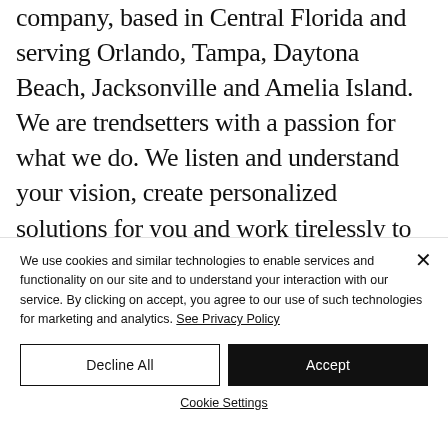company, based in Central Florida and serving Orlando, Tampa, Daytona Beach, Jacksonville and Amelia Island. We are trendsetters with a passion for what we do. We listen and understand your vision, create personalized solutions for you and work tirelessly to deliver
We use cookies and similar technologies to enable services and functionality on our site and to understand your interaction with our service. By clicking on accept, you agree to our use of such technologies for marketing and analytics. See Privacy Policy